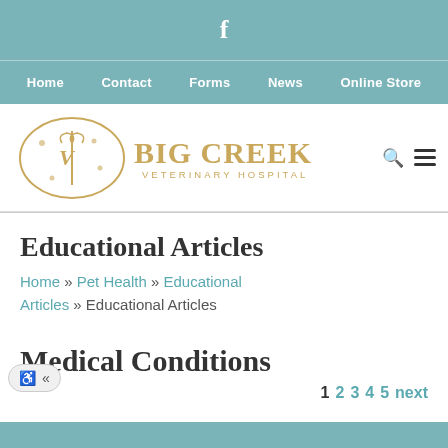f
Home  Contact  Forms  News  Online Store
[Figure (logo): Big Creek Veterinary Hospital logo with decorative oval emblem and gold text]
Educational Articles
Home » Pet Health » Educational Articles » Educational Articles
Medical Conditions
1  2  3  4  5  next